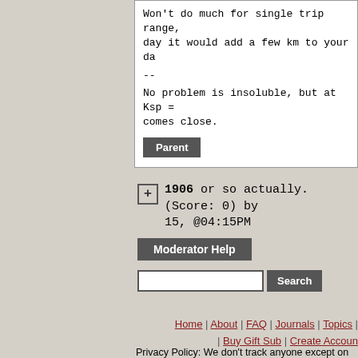Won't do much for single trip range, day it would add a few km to your da
--
No problem is insoluble, but at Ksp = comes close.
Parent
1906 or so actually. (Score: 0) by 15, @04:15PM
Moderator Help
Search
Home | About | FAQ | Journals | Topics | Buy Gift Sub | Create Account
Privacy Policy: We don't track anyone except on relevant and are ignored. We don't collect any p you except your email address, which: you can c in the first place, is only used to contact you if n with nobody.